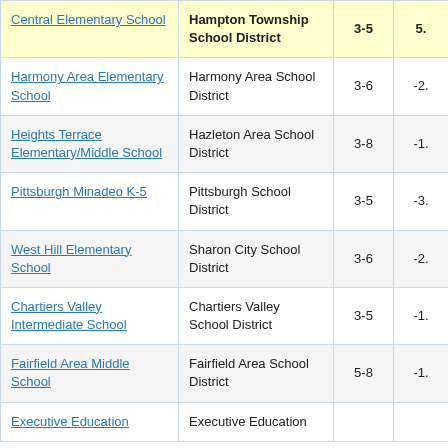| School | District | Grades | Value |
| --- | --- | --- | --- |
| Central Elementary School | Hampton Township School District | 3-5 | 5. |
| Harmony Area Elementary School | Harmony Area School District | 3-6 | -2. |
| Heights Terrace Elementary/Middle School | Hazleton Area School District | 3-8 | -1. |
| Pittsburgh Minadeo K-5 | Pittsburgh School District | 3-5 | -3. |
| West Hill Elementary School | Sharon City School District | 3-6 | -2. |
| Chartiers Valley Intermediate School | Chartiers Valley School District | 3-5 | -1. |
| Fairfield Area Middle School | Fairfield Area School District | 5-8 | -1. |
| Executive Education | Executive Education |  |  |